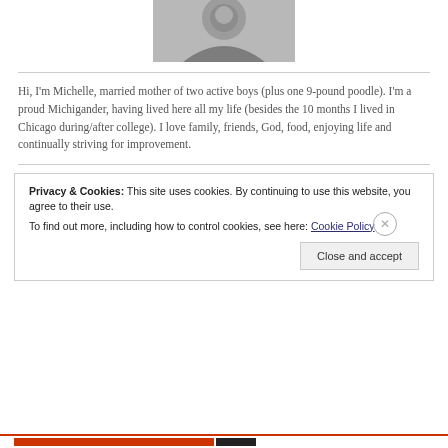[Figure (photo): Black and white portrait photo of a smiling woman with dark hair and earrings]
Hi, I'm Michelle, married mother of two active boys (plus one 9-pound poodle). I'm a proud Michigander, having lived here all my life (besides the 10 months I lived in Chicago during/after college). I love family, friends, God, food, enjoying life and continually striving for improvement.
Privacy & Cookies: This site uses cookies. By continuing to use this website, you agree to their use.
To find out more, including how to control cookies, see here: Cookie Policy
Close and accept